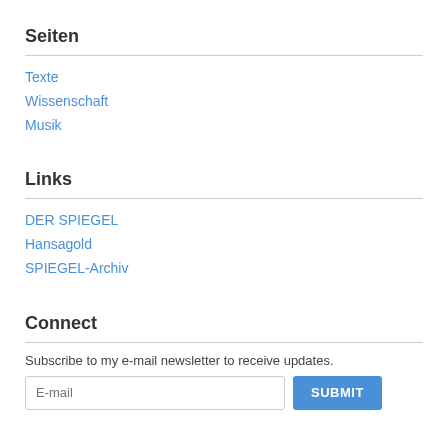Seiten
Texte
Wissenschaft
Musik
Links
DER SPIEGEL
Hansagold
SPIEGEL-Archiv
Connect
Subscribe to my e-mail newsletter to receive updates.